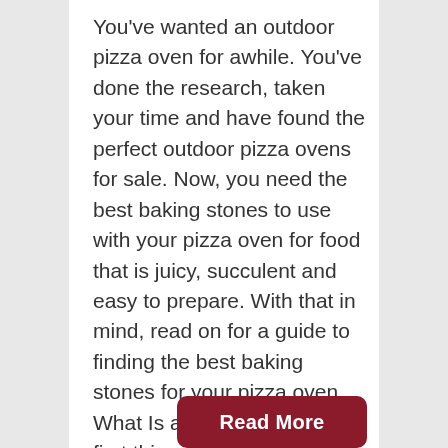You've wanted an outdoor pizza oven for awhile. You've done the research, taken your time and have found the perfect outdoor pizza ovens for sale. Now, you need the best baking stones to use with your pizza oven for food that is juicy, succulent and easy to prepare. With that in mind, read on for a guide to finding the best baking stones for your pizza oven. What Is a Baking Stone? The first thing you need to know is what a baking...
Read More